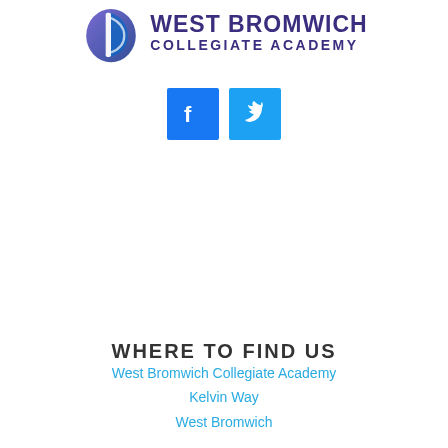[Figure (logo): West Bromwich Collegiate Academy logo with blue/purple shield icon and text]
[Figure (infographic): Facebook and Twitter social media icon buttons in blue squares]
WHERE TO FIND US
West Bromwich Collegiate Academy
Kelvin Way
West Bromwich